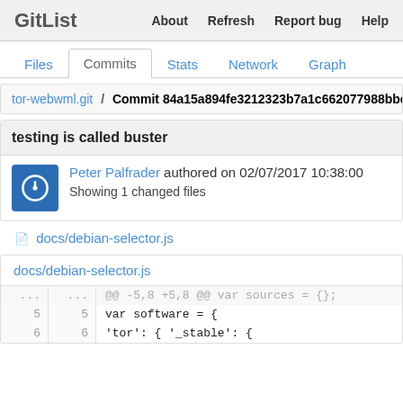GitList  About  Refresh  Report bug  Help
Files  Commits  Stats  Network  Graph
tor-webwml.git / Commit 84a15a894fe3212323b7a1c662077988bbe2
testing is called buster
Peter Palfrader authored on 02/07/2017 10:38:00
Showing 1 changed files
docs/debian-selector.js
docs/debian-selector.js
| old | new | code |
| --- | --- | --- |
| ... | ... | @@ -5,8 +5,8 @@ var sources = {}; |
| 5 | 5 | var software = { |
| 6 | 6 | 'tor': { '_stable': { |